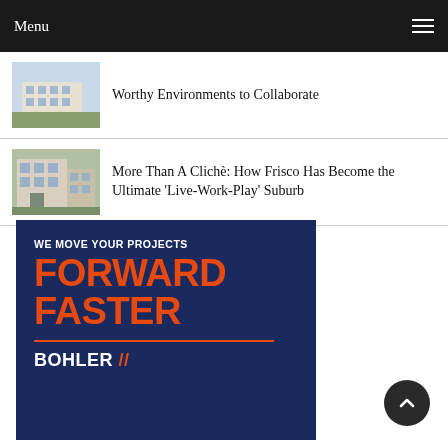Menu
Worthy Environments to Collaborate
More Than A Clichè: How Frisco Has Become the Ultimate 'Live-Work-Play' Suburb
[Figure (infographic): Bohler advertisement with dark navy background. White text reads 'WE MOVE YOUR PROJECTS', large orange bold text reads 'FORWARD FASTER', orange horizontal rule, white bold text reads 'BOHLER //']